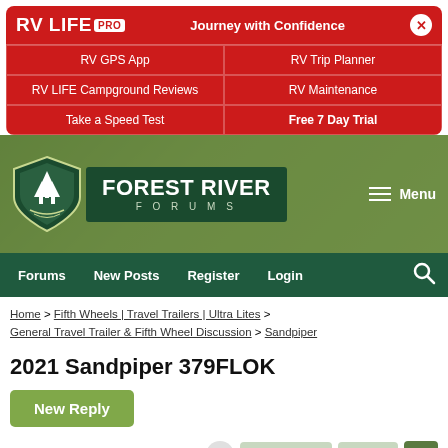[Figure (screenshot): RV LIFE PRO promotional banner with red background showing navigation links: RV GPS App, RV Trip Planner, RV LIFE Campground Reviews, RV Maintenance, Take a Speed Test, Free 7 Day Trial]
[Figure (logo): Forest River Forums logo with shield icon and green banner header, Menu button top right]
Forums | New Posts | Register | Login
Home > Fifth Wheels | Travel Trailers | Ultra Lites > General Travel Trailer & Fifth Wheel Discussion > Sandpiper
2021 Sandpiper 379FLOK
New Reply
Page 1 of 2   Next >